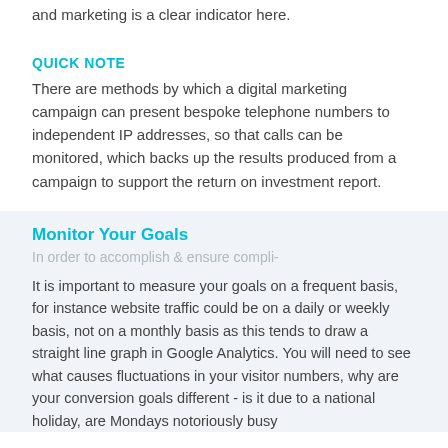and marketing is a clear indicator here.
QUICK NOTE
There are methods by which a digital marketing campaign can present bespoke telephone numbers to independent IP addresses, so that calls can be monitored, which backs up the results produced from a campaign to support the return on investment report.
Monitor Your Goals
In order to accomplish & ensure compli-
It is important to measure your goals on a frequent basis, for instance website traffic could be on a daily or weekly basis, not on a monthly basis as this tends to draw a straight line graph in Google Analytics. You will need to see what causes fluctuations in your visitor numbers, why are your conversion goals different - is it due to a national holiday, are Mondays notoriously busy